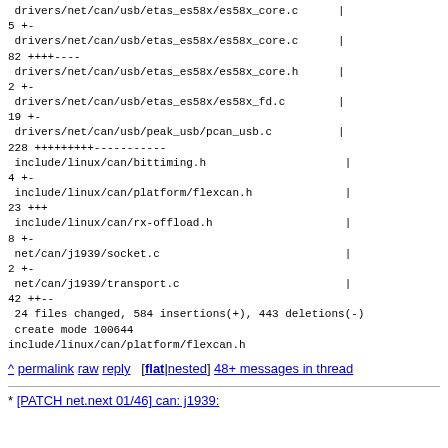drivers/net/can/usb/etas_es58x/es58x_core.c | 82 ++++----
 drivers/net/can/usb/etas_es58x/es58x_core.h | 2 +-
 drivers/net/can/usb/etas_es58x/es58x_fd.c | 19 +-
 drivers/net/can/usb/peak_usb/pcan_usb.c | 228 +++++++++-----------
 include/linux/can/bittiming.h | 4 +-
 include/linux/can/platform/flexcan.h | 23 +++
 include/linux/can/rx-offload.h | 8 +-
 net/can/j1939/socket.c | 2 +-
 net/can/j1939/transport.c | 42 ++--
 24 files changed, 584 insertions(+), 443 deletions(-)
 create mode 100644
 include/linux/can/platform/flexcan.h
^ permalink raw reply [flat|nested] 48+ messages in thread
* [PATCH net.next 01/46] can: j1939: